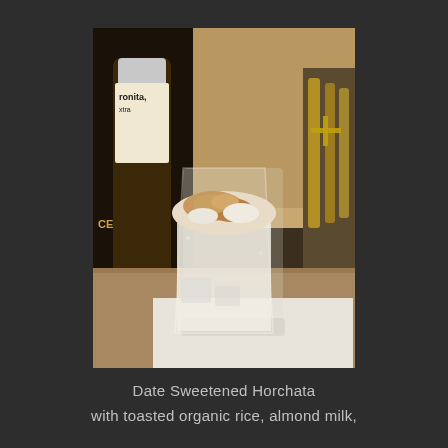[Figure (photo): A tall glass of horchata with a frothy, cinnamon-dusted top, sitting on a white surface. In the background, a Coronita Extra beer bottle and golden metallic containers are visible. The drink is creamy white with ice visible through the glass.]
Date Sweetened Horchata
with toasted organic rice, almond milk,